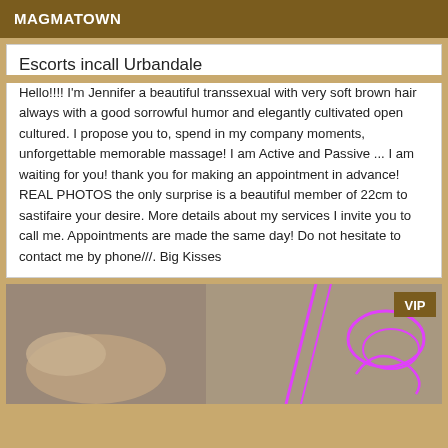MAGMATOWN
Escorts incall Urbandale
Hello!!!! I'm Jennifer a beautiful transsexual with very soft brown hair always with a good sorrowful humor and elegantly cultivated open cultured. I propose you to, spend in my company moments, unforgettable memorable massage! I am Active and Passive ... I am waiting for you! thank you for making an appointment in advance! REAL PHOTOS the only surprise is a beautiful member of 22cm to sastifaire your desire. More details about my services I invite you to call me. Appointments are made the same day! Do not hesitate to contact me by phone///. Big Kisses
[Figure (photo): Partial photo of a person with pink/magenta graphic lines overlaid, with a VIP badge in the top right corner]